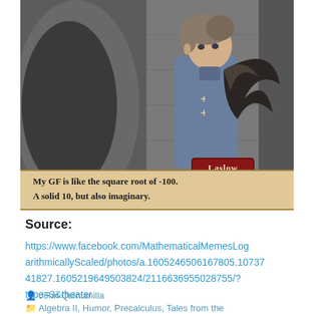[Figure (screenshot): Screenshot from a video game (Fire Emblem style) showing a character named 'Laslow' — an anime-style young man with gray-brown hair wearing a blue coat, holding a weapon, standing against a stone archway background. A dialog box at the bottom reads: 'My GF is like the square root of -100. A solid 10, but also imaginary.']
Source:
https://www.facebook.com/MathematicalMemesLogarithmicallyScaled/photos/a.1605246506167805.1073741827.1605219649503824/2116636955028755/?type=3&theater
John Quintanilla
Algebra II, Humor, Precalculus, Tales from the